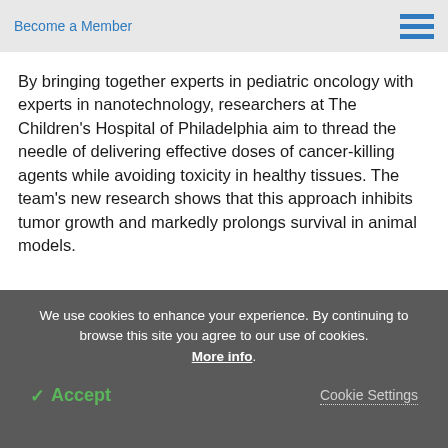Become a Member
By bringing together experts in pediatric oncology with experts in nanotechnology, researchers at The Children's Hospital of Philadelphia aim to thread the needle of delivering effective doses of cancer-killing agents while avoiding toxicity in healthy tissues. The team's new research shows that this approach inhibits tumor growth and markedly prolongs survival in animal models.
We use cookies to enhance your experience. By continuing to browse this site you agree to our use of cookies. More info.
✔ Accept
Cookie Settings